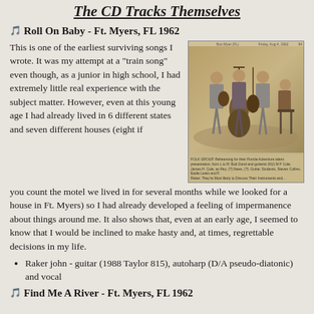The CD Tracks Themselves
🎵 Roll On Baby - Ft. Myers, FL 1962
This is one of the earliest surviving songs I wrote. It was my attempt at a "train song" even though, as a junior in high school, I had extremely little real experience with the subject matter. However, even at this young age I had already lived in 6 different states and seven different houses (eight if you count the motel we lived in for several months while we looked for a house in Ft. Myers) so I had already developed a feeling of impermanence about things around me. It also shows that, even at an early age, I seemed to know that I would be inclined to make hasty and, at times, regrettable decisions in my life.
[Figure (photo): Vintage sepia newspaper photo of a band with guitars and double bass, 1962 era, with caption text below.]
Raker john - guitar (1988 Taylor 815), autoharp (D/A pseudo-diatonic) and vocal
🎵 Find Me A River - Ft. Myers, FL 1962